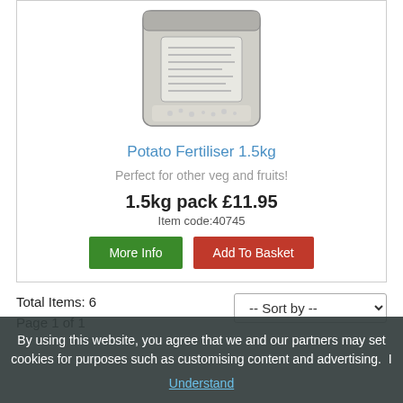[Figure (photo): A bag of Potato Fertiliser 1.5kg product]
Potato Fertiliser 1.5kg
Perfect for other veg and fruits!
1.5kg pack £11.95
Item code:40745
Total Items: 6
Page 1 of 1
By using this website, you agree that we and our partners may set cookies for purposes such as customising content and advertising. I Understand